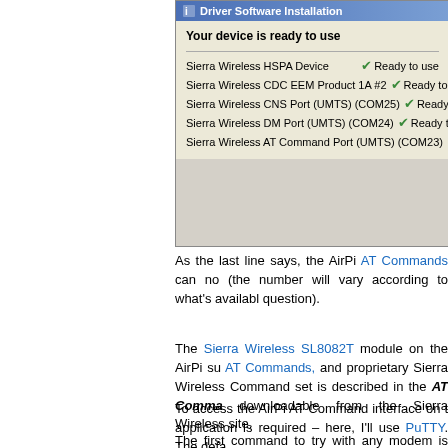[Figure (screenshot): Windows Driver Software Installation dialog showing 'Your device is ready to use' with five Sierra Wireless devices listed, each with a green checkmark and 'Ready to use' status.]
As the last line says, the AirPi AT Commands can now be accessed on a COM port (the number will vary according to what's available on the PC in question).
The Sierra Wireless SL8082T module on the AirPi supports standard AT Commands, and proprietary Sierra Wireless extensions. The full AT Command set is described in the AT Commands document, downloadable from the Sierra Wireless site.
To access the AirPi AT Command interface on the PC, a terminal application is required – here, I'll use PuTTY. The default settings...
The first command to try with any modem is always "AT", which responds with "OK".